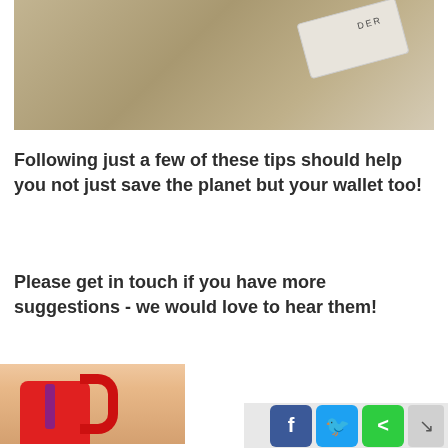[Figure (photo): Close-up of a woven beige/tan carpet or rug texture with a white cylindrical pillow or door draft stopper in the upper right corner]
Following just a few of these tips should help you not just save the planet but your wallet too!
Please get in touch if you have more suggestions - we would love to hear them!
[Figure (photo): Partial view of a red electric kettle with a purple accent stripe against a light beige/brick background]
[Figure (other): Social sharing bar with Facebook, Twitter, and share buttons, plus a navigation arrow]